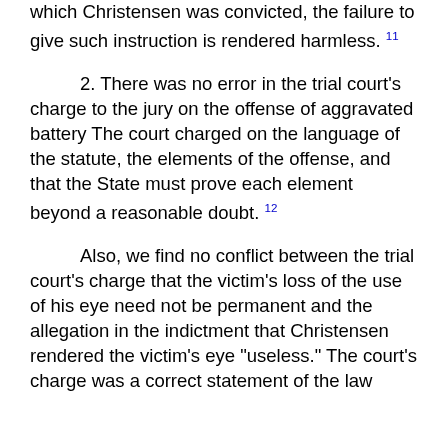which Christensen was convicted, the failure to give such instruction is rendered harmless. 11
2. There was no error in the trial court's charge to the jury on the offense of aggravated battery The court charged on the language of the statute, the elements of the offense, and that the State must prove each element beyond a reasonable doubt. 12
Also, we find no conflict between the trial court's charge that the victim's loss of the use of his eye need not be permanent and the allegation in the indictment that Christensen rendered the victim's eye "useless." The court's charge was a correct statement of the law